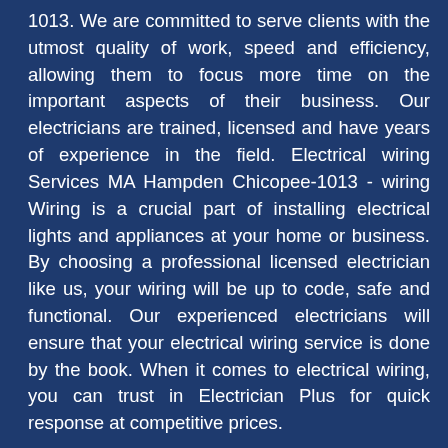1013. We are committed to serve clients with the utmost quality of work, speed and efficiency, allowing them to focus more time on the important aspects of their business. Our electricians are trained, licensed and have years of experience in the field. Electrical wiring Services MA Hampden Chicopee-1013 - wiring Wiring is a crucial part of installing electrical lights and appliances at your home or business. By choosing a professional licensed electrician like us, your wiring will be up to code, safe and functional. Our experienced electricians will ensure that your electrical wiring service is done by the book. When it comes to electrical wiring, you can trust in Electrician Plus for quick response at competitive prices.